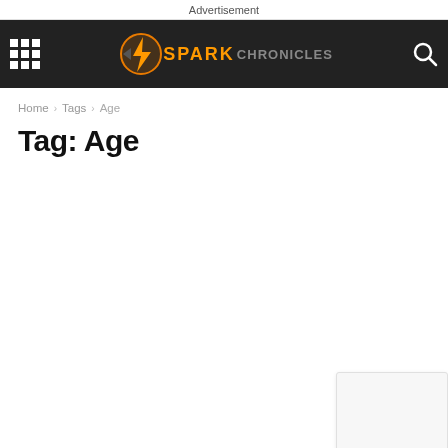Advertisement
[Figure (logo): Spark Chronicles logo with lightning bolt icon and orange SPARK text on dark navigation bar, with grid/menu icon on left and search icon on right]
Home › Tags › Age
Tag: Age
Cryptocurrency